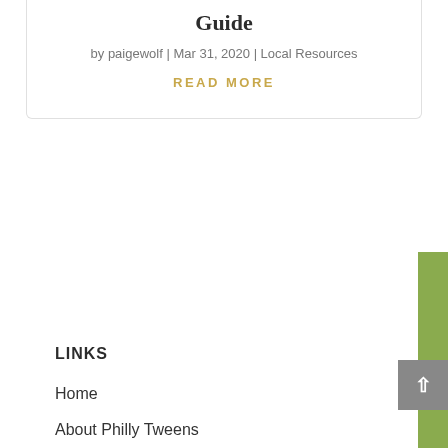Guide
by paigewolf | Mar 31, 2020 | Local Resources
READ MORE
LINKS
Home
About Philly Tweens
Write for Us